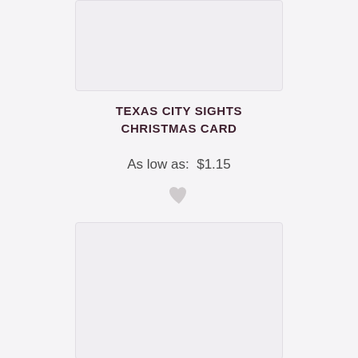[Figure (other): Top portion of a Christmas card product image placeholder, partially cropped at top of page]
TEXAS CITY SIGHTS CHRISTMAS CARD
As low as:  $1.15
[Figure (illustration): Heart/favorite icon in light gray]
[Figure (other): Second Christmas card product image placeholder, mostly blank/white card face]